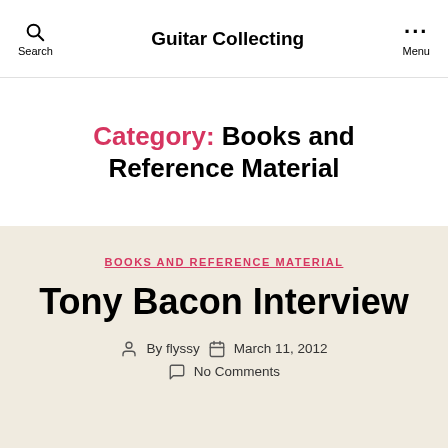Guitar Collecting
Category: Books and Reference Material
BOOKS AND REFERENCE MATERIAL
Tony Bacon Interview
By flyssy   March 11, 2012   No Comments